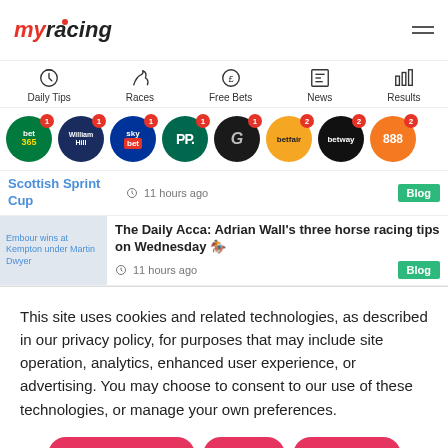myracing
Daily Tips | Races | Free Bets | News | Results
[Figure (other): Row of bookmaker logo circles: bet365 (badge 1), William Hill (badge 1), Sky Bet (badge 1), PP (badge 1), G Sport (badge 1), Betfair (badge 2), Betway (badge 2), 888 (badge 2)]
Scottish Sprint Cup · 11 hours ago · Blog
Embour wins at Kempton under Martin Dwyer
The Daily Acca: Adrian Wall's three horse racing tips on Wednesday 🏇
11 hours ago · Blog
This site uses cookies and related technologies, as described in our privacy policy, for purposes that may include site operation, analytics, enhanced user experience, or advertising. You may choose to consent to our use of these technologies, or manage your own preferences.
Manage Settings | Accept | Decline All